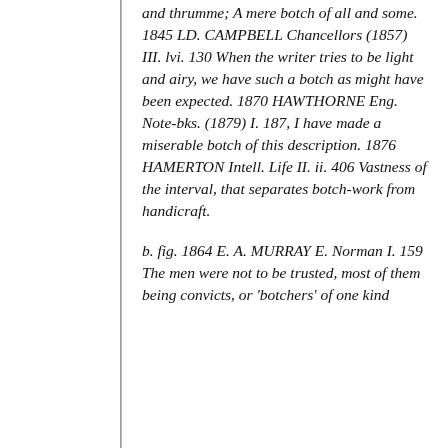and thrumme; A mere botch of all and some. 1845 LD. CAMPBELL Chancellors (1857) III. lvi. 130 When the writer tries to be light and airy, we have such a botch as might have been expected. 1870 HAWTHORNE Eng. Note-bks. (1879) I. 187, I have made a miserable botch of this description. 1876 HAMERTON Intell. Life II. ii. 406 Vastness of the interval, that separates botch-work from handicraft.
b. fig. 1864 E. A. MURRAY E. Norman I. 159 The men were not to be trusted, most of them being convicts, or 'botchers' of one kind